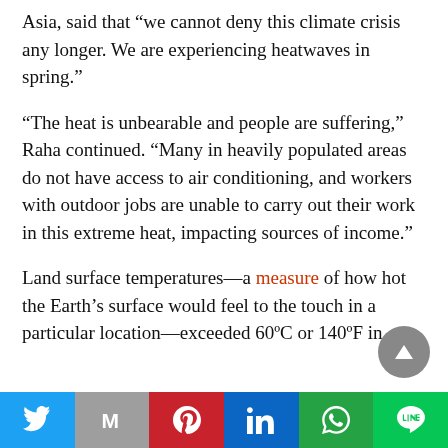Asia, said that “we cannot deny this climate crisis any longer. We are experiencing heatwaves in spring.”
“The heat is unbearable and people are suffering,” Raha continued. “Many in heavily populated areas do not have access to air conditioning, and workers with outdoor jobs are unable to carry out their work in this extreme heat, impacting sources of income.”
Land surface temperatures—a measure of how hot the Earth’s surface would feel to the touch in a particular location—exceeded 60ºC or 140ºF in
[Figure (other): Social media share bar with buttons for Twitter, Gmail, Pinterest, LinkedIn, WhatsApp, and LINE]